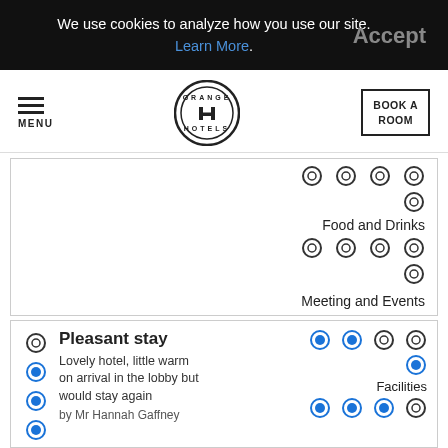We use cookies to analyze how you use our site. Learn More. Accept
MENU | GRANGE HOTELS logo | BOOK A ROOM
Food and Drinks
Meeting and Events
Pleasant stay
Lovely hotel, little warm on arrival in the lobby but would stay again
by Mr Hannah Gaffney
Facilities